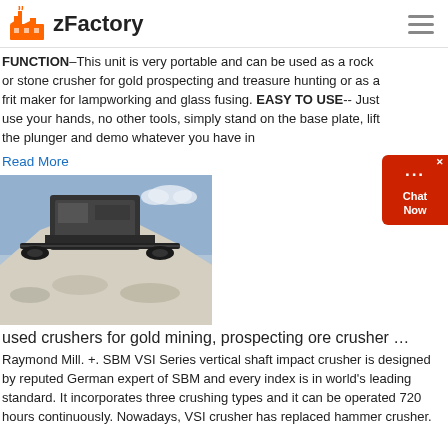zFactory
FUNCTION–This unit is very portable and can be used as a rock or stone crusher for gold prospecting and treasure hunting or as a frit maker for lampworking and glass fusing. EASY TO USE-- Just use your hands, no other tools, simply stand on the base plate, lift the plunger and demo whatever you have in
Read More
[Figure (photo): Mobile crushing machine with large pile of crushed stone/gravel aggregate in the foreground, blue sky in background]
used crushers for gold mining, prospecting ore crusher …
Raymond Mill. +. SBM VSI Series vertical shaft impact crusher is designed by reputed German expert of SBM and every index is in world's leading standard. It incorporates three crushing types and it can be operated 720 hours continuously. Nowadays, VSI crusher has replaced hammer crusher.